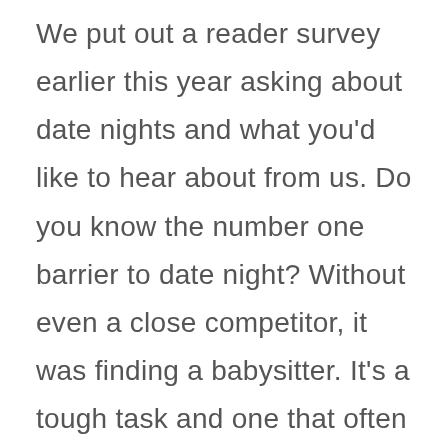We put out a reader survey earlier this year asking about date nights and what you'd like to hear about from us. Do you know the number one barrier to date night? Without even a close competitor, it was finding a babysitter. It's a tough task and one that often spoils the best of plans. We really love that when we take a getaway it's just one hard task to find childcare for one or more nights, and then we know